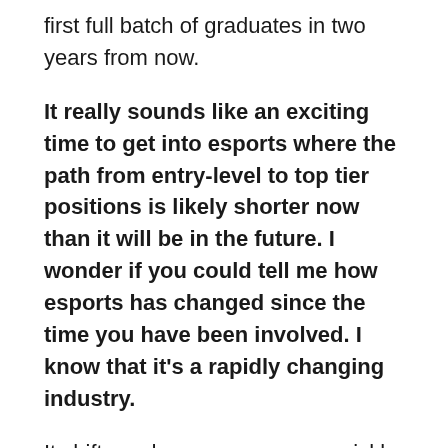first full batch of graduates in two years from now.
It really sounds like an exciting time to get into esports where the path from entry-level to top tier positions is likely shorter now than it will be in the future. I wonder if you could tell me how esports has changed since the time you have been involved. I know that it's a rapidly changing industry.
It shifts and moves very very quickly. For the most part at the professional level, since I've been involved, what's great is that I've seen more franchise based teams and leagues being established at the pro level. Now they are city based instead of